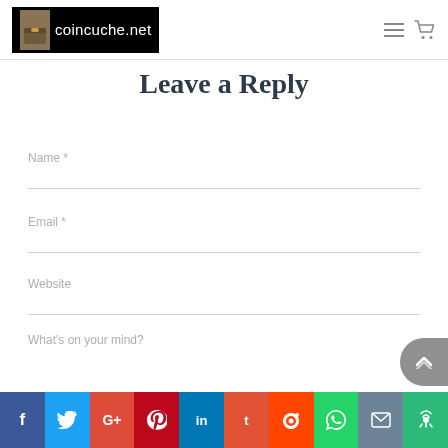[Figure (logo): coincuche.net logo with treasure chest image on black background]
Leave a Reply
Name *
Email *
Website
What's on your mind?
[Figure (infographic): Social share bar with Facebook, Twitter, Google+, Pinterest, LinkedIn, Tumblr, Reddit, WhatsApp, Email, Phone icons]